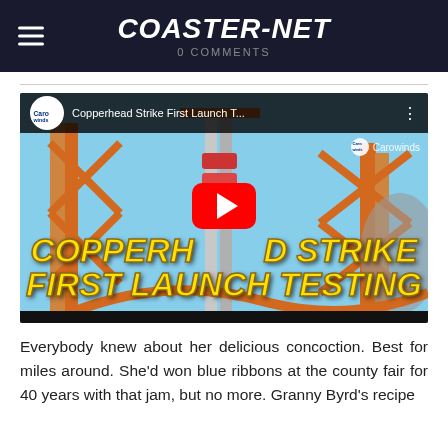COASTER-NET | 0 COMMENTS
[Figure (screenshot): YouTube video thumbnail showing Copperhead Strike roller coaster at Carowinds. Title overlay reads 'COPPERHEAD STRIKE FIRST LAUNCH TESTING' in large yellow italic text. Carowinds logo visible in top-left and top-right of video frame. Red YouTube play button centered.]
Everybody knew about her delicious concoction. Best for miles around. She'd won blue ribbons at the county fair for 40 years with that jam, but no more. Granny Byrd's recipe